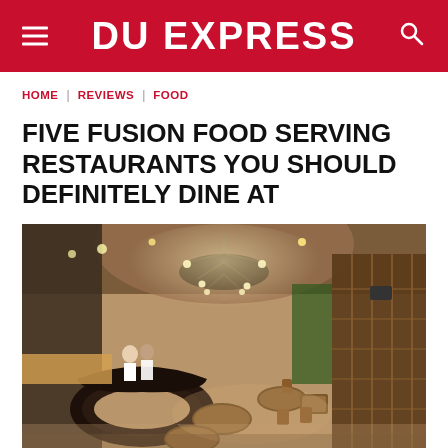DU EXPRESS
HOME | REVIEWS | FOOD
FIVE FUSION FOOD SERVING RESTAURANTS YOU SHOULD DEFINITELY DINE AT
[Figure (photo): Interior of an upscale restaurant with circular leather booth seating, ornate chandelier, wooden tables and chairs, wine racks along the walls, and warm ambient lighting with a large domed ceiling.]